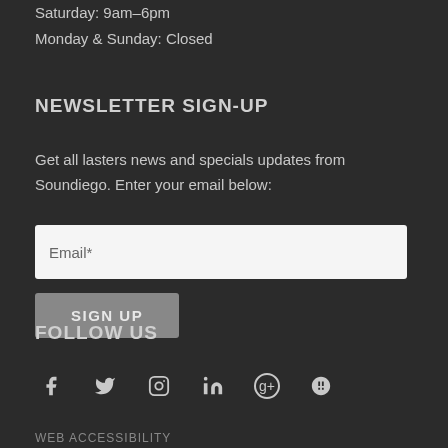Saturday: 9am–6pm
Monday & Sunday: Closed
NEWSLETTER SIGN-UP
Get all lasters news and specials updates from Soundiego. Enter your email below:
[Figure (other): Email input field with placeholder 'Email*' and a SIGN UP button below]
FOLLOW US
[Figure (infographic): Row of 6 social media icons: Facebook, Twitter, Instagram, LinkedIn, Google+, Yelp]
WEB ACCESSIBILITY